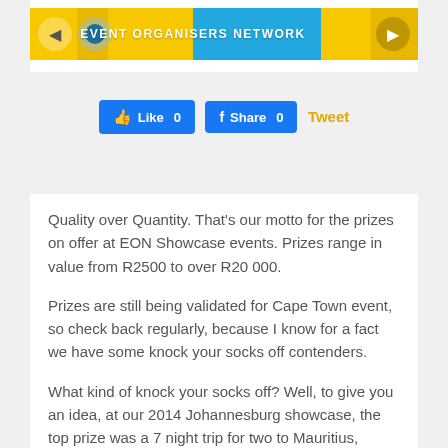[Figure (screenshot): Yellow and blue banner for Event Organisers Network with navigation arrows and a logo/radio graphic]
Like 0   Share 0   Tweet
Quality over Quantity. That's our motto for the prizes on offer at EON Showcase events. Prizes range in value from R2500 to over R20 000.
Prizes are still being validated for Cape Town event, so check back regularly, because I know for a fact we have some knock your socks off contenders.
What kind of knock your socks off? Well, to give you an idea, at our 2014 Johannesburg showcase, the top prize was a 7 night trip for two to Mauritius, including flights, transfers and 5 star accommodation on a dinner, bed and breakfast basis.